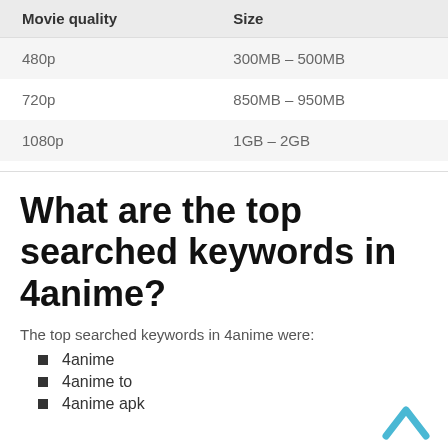| Movie quality | Size |
| --- | --- |
| 480p | 300MB – 500MB |
| 720p | 850MB – 950MB |
| 1080p | 1GB – 2GB |
What are the top searched keywords in 4anime?
The top searched keywords in 4anime were:
4anime
4anime to
4anime apk